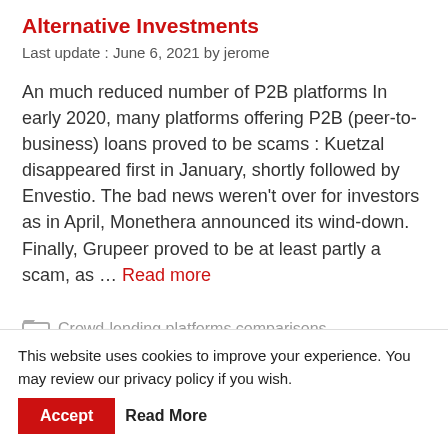Alternative Investments
Last update : June 6, 2021 by jerome
An much reduced number of P2B platforms In early 2020, many platforms offering P2B (peer-to-business) loans proved to be scams : Kuetzal disappeared first in January, shortly followed by Envestio. The bad news weren't over for investors as in April, Monethera announced its wind-down. Finally, Grupeer proved to be at least partly a scam, as … Read more
Crowd-lending platforms comparisons
This website uses cookies to improve your experience. You may review our privacy policy if you wish. Accept Read More